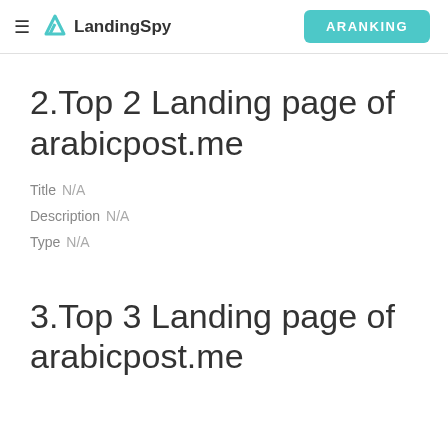≡ LandingSpy | ARANKING
2.Top 2 Landing page of arabicpost.me
Title  N/A
Description  N/A
Type  N/A
3.Top 3 Landing page of arabicpost.me